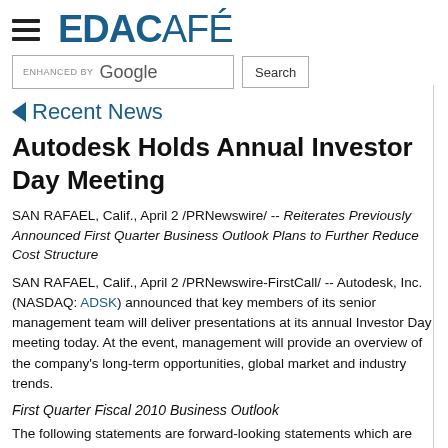EDACAFÉ
◄ Recent News
Autodesk Holds Annual Investor Day Meeting
SAN RAFAEL, Calif., April 2 /PRNewswire/ -- Reiterates Previously Announced First Quarter Business Outlook Plans to Further Reduce Cost Structure
SAN RAFAEL, Calif., April 2 /PRNewswire-FirstCall/ -- Autodesk, Inc. (NASDAQ: ADSK) announced that key members of its senior management team will deliver presentations at its annual Investor Day meeting today. At the event, management will provide an overview of the company's long-term opportunities, global market and industry trends.
First Quarter Fiscal 2010 Business Outlook
The following statements are forward-looking statements which are based on current expectations and which involve risks and uncertainties, some of which are set forth below.